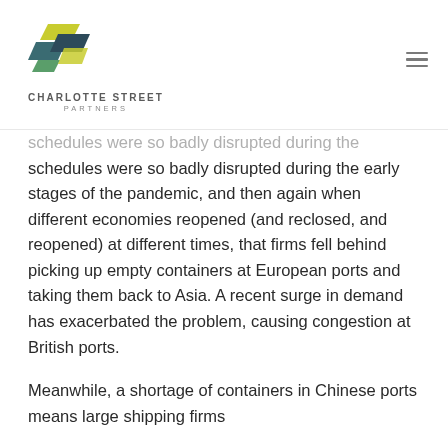Charlotte Street Partners
schedules were so badly disrupted during the early stages of the pandemic, and then again when different economies reopened (and reclosed, and reopened) at different times, that firms fell behind picking up empty containers at European ports and taking them back to Asia. A recent surge in demand has exacerbated the problem, causing congestion at British ports.
Meanwhile, a shortage of containers in Chinese ports means large shipping firms